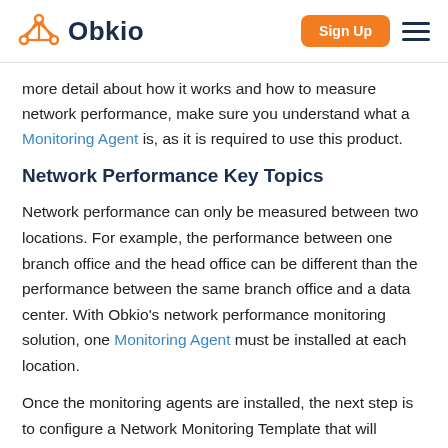Obkio | Sign Up
more detail about how it works and how to measure network performance, make sure you understand what a Monitoring Agent is, as it is required to use this product.
Network Performance Key Topics
Network performance can only be measured between two locations. For example, the performance between one branch office and the head office can be different than the performance between the same branch office and a data center. With Obkio's network performance monitoring solution, one Monitoring Agent must be installed at each location.
Once the monitoring agents are installed, the next step is to configure a Network Monitoring Template that will